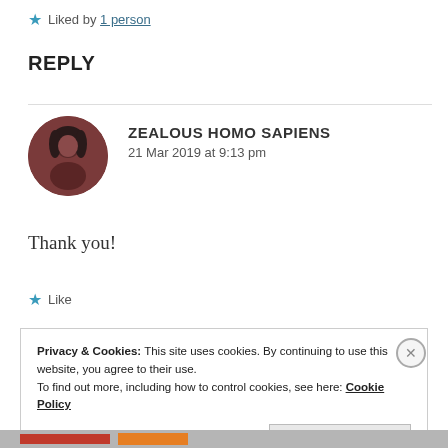★ Liked by 1 person
REPLY
ZEALOUS HOMO SAPIENS
21 Mar 2019 at 9:13 pm
Thank you!
★ Like
Privacy & Cookies: This site uses cookies. By continuing to use this website, you agree to their use.
To find out more, including how to control cookies, see here: Cookie Policy
Close and accept